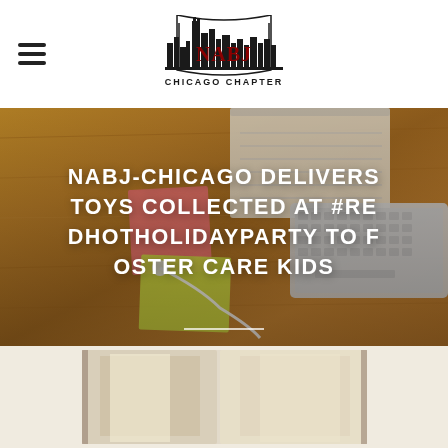NABJ Chicago Chapter
[Figure (logo): NABJ Chicago Chapter logo with city skyline silhouette and red/black text]
[Figure (photo): Background photo of a wooden desk with keyboard, notebook, sticky notes, and earphones in warm brown tones]
NABJ-CHICAGO DELIVERS TOYS COLLECTED AT #REDHOTHOLIDAYPARTY TO FOSTER CARE KIDS
[Figure (photo): Partial photo visible at the bottom of the page, appearing to show an interior scene]